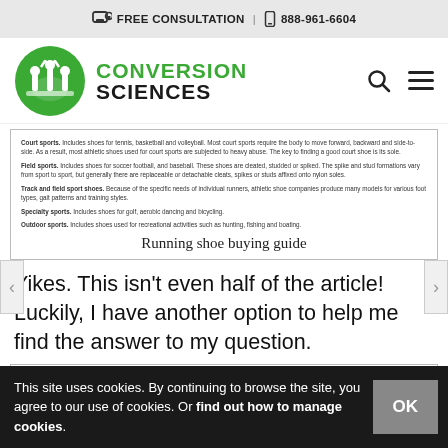FREE CONSULTATION | 888-961-6604
[Figure (logo): Conversion Sciences green circular logo with text CONVERSION SCIENCES]
[Figure (screenshot): Screenshot of a running shoe buying guide article showing categories: Court sports, Field sports, Track and field sport shoes, Specialty sports, Outdoor sports with caption 'Running shoe buying guide']
Yikes. This isn't even half of the article! Luckily, I have another option to help me find the answer to my question.
This site uses cookies. By continuing to browse the site, you agree to our use of cookies. Or find out how to manage cookies.